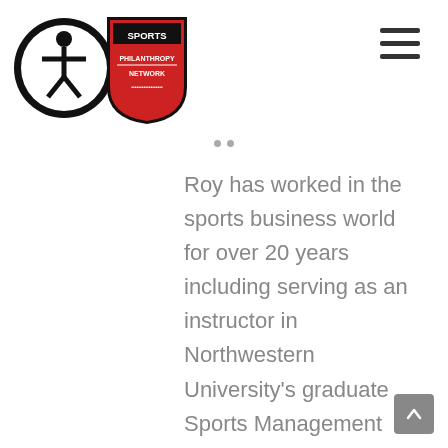[Figure (logo): Sports Philanthropy Network logo — circular black badge with a white accessibility icon figure on the left, shield-shaped emblem with 'SPORTS PHILANTHROPY NETWORK' text in red and white on the right]
Roy has worked in the sports business world for over 20 years including serving as an instructor in Northwestern University's graduate Sports Management Program. Having served as a sports lawyer representing athletes, entrepreneurs and start-